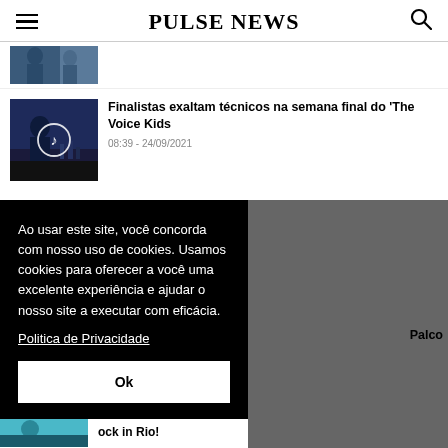PULSE NEWS
[Figure (photo): Partial thumbnail image of two people, cropped at top]
Finalistas exaltam técnicos na semana final do 'The Voice Kids
08:39 - 24/09/2021
Ao usar este site, você concorda com nosso uso de cookies. Usamos cookies para oferecer a você uma excelente experiência e ajudar o nosso site a executar com eficácia. Politica de Privacidade
Ok
Palco
ock in Rio!